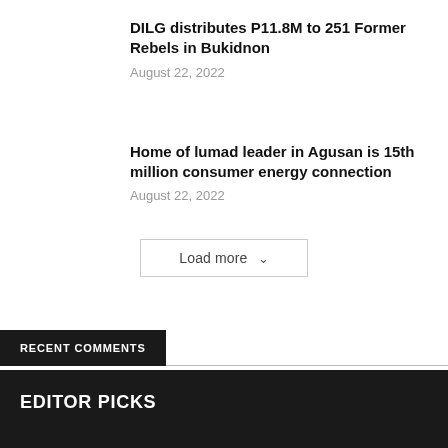DILG distributes P11.8M to 251 Former Rebels in Bukidnon
August 22, 2022
Home of lumad leader in Agusan is 15th million consumer energy connection
August 22, 2022
Load more
RECENT COMMENTS
EDITOR PICKS